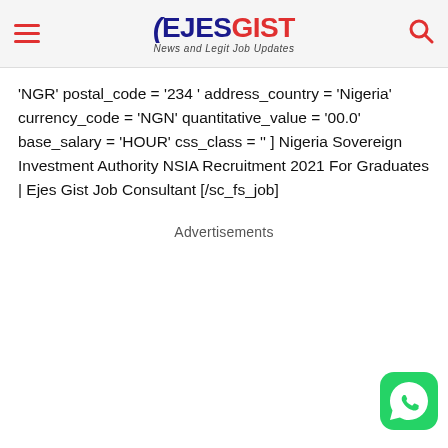EJESGIST News and Legit Job Updates
'NGR' postal_code = '234 ' address_country = 'Nigeria' currency_code = 'NGN' quantitative_value = '00.0' base_salary = 'HOUR' css_class = '' ] Nigeria Sovereign Investment Authority NSIA Recruitment 2021 For Graduates | Ejes Gist Job Consultant [/sc_fs_job]
Advertisements